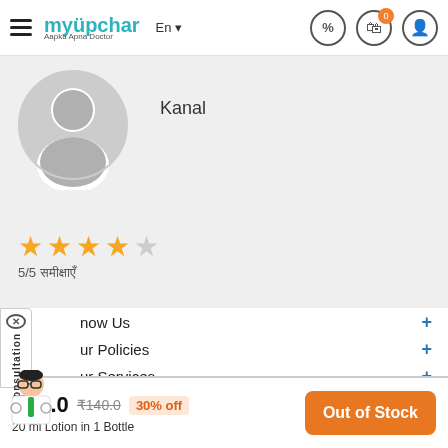myUpchar — Aapka Apna Doctor | En | nav icons
[Figure (photo): Generic user avatar silhouette in gray circle]
Kanal
[Figure (infographic): 4 gold stars rating display]
5/5 (reviews in Hindi script)
[Figure (illustration): Doctor character illustration for consultation tab]
now Us +
ur Policies +
ur Services +
or Doctors +
Download App
₹98.0  ₹140.0  30% off
20 ml Lotion in 1 Bottle
Out of Stock